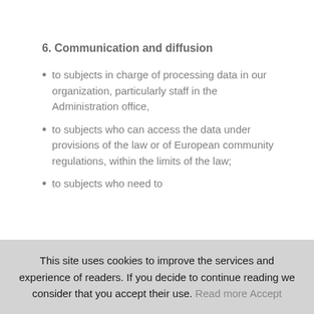6. Communication and diffusion
to subjects in charge of processing data in our organization, particularly staff in the Administration office,
to subjects who can access the data under provisions of the law or of European community regulations, within the limits of the law;
to subjects who need to
This site uses cookies to improve the services and experience of readers. If you decide to continue reading we consider that you accept their use.  Read more  Accept